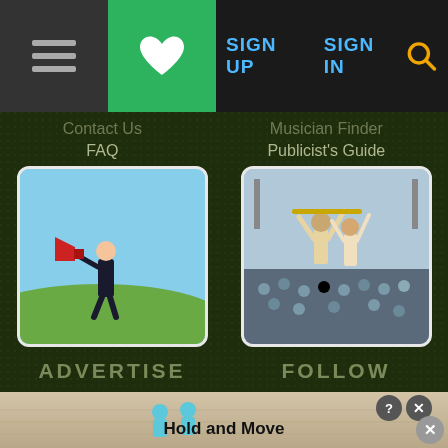SIGN UP  SIGN IN  [search]
Contact Us
FAQ
Musician Finder
Publicist's Guide
[Figure (photo): Person in suit standing on hill holding a megaphone]
[Figure (photo): Musicians on stage holding instruments above crowd at concert]
ADVERTISE
FOLLOW
Place Order
Rates and Options
For Musicians
Newsletter
Embeddables
RSS
Twitter
Facebook
[Figure (screenshot): Ad banner at bottom: Hold and Move mobile app advertisement with blue figure icons]